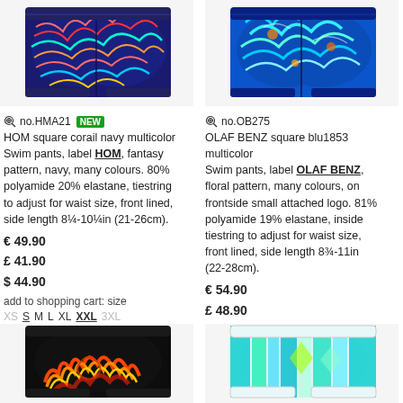[Figure (photo): HOM swim pants in multicolor coral/navy fantasy pattern, top-left]
[Figure (photo): OLAF BENZ swim pants in blue/multicolor floral pattern, top-right]
no.HMA21 NEW
HOM square corail navy multicolor
Swim pants, label HOM, fantasy pattern, navy, many colours. 80% polyamide 20% elastane, tiestring to adjust for waist size, front lined, side length 8¼-10¼in (21-26cm).
€ 49.90
£ 41.90
$ 44.90
add to shopping cart: size
XS S M L XL XXL 3XL
no.OB275
OLAF BENZ square blu1853 multicolor
Swim pants, label OLAF BENZ, floral pattern, many colours, on frontside small attached logo. 81% polyamide 19% elastane, inside tiestring to adjust for waist size, front lined, side length 8¾-11in (22-28cm).
€ 54.90
£ 48.90
$ 52.90
add to shopping cart: size
XS S M L XL XXL 3XL
[Figure (photo): Swim pants with fire/dragon pattern in dark colors, bottom-left]
[Figure (photo): Swim pants with teal/green geometric pattern, bottom-right]